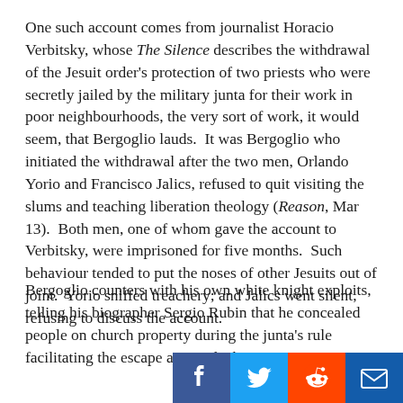One such account comes from journalist Horacio Verbitsky, whose The Silence describes the withdrawal of the Jesuit order's protection of two priests who were secretly jailed by the military junta for their work in poor neighbourhoods, the very sort of work, it would seem, that Bergoglio lauds.  It was Bergoglio who initiated the withdrawal after the two men, Orlando Yorio and Francisco Jalics, refused to quit visiting the slums and teaching liberation theology (Reason, Mar 13).  Both men, one of whom gave the account to Verbitsky, were imprisoned for five months.  Such behaviour tended to put the noses of other Jesuits out of joint.  Yorio sniffed treachery; and Jalics went silent, refusing to discuss the account.
Bergoglio counters with his own white knight exploits, telling his biographer Sergio Rubin that he concealed people on church property during the junta's rule facilitating the escape across the border of some acting for us here. Not challenging the junta, never and